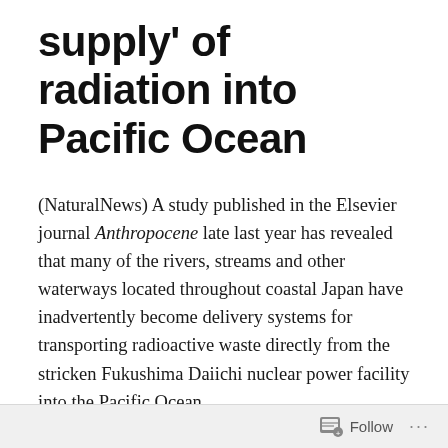supply' of radiation into Pacific Ocean
(NaturalNews) A study published in the Elsevier journal Anthropocene late last year has revealed that many of the rivers, streams and other waterways located throughout coastal Japan have inadvertently become delivery systems for transporting radioactive waste directly from the stricken Fukushima Daiichi nuclear power facility into the Pacific Ocean.
Researchers from both France and Japan discovered this after conducting a thorough sediment and soil erosion analysis, which revealed the presence of cesium-137,